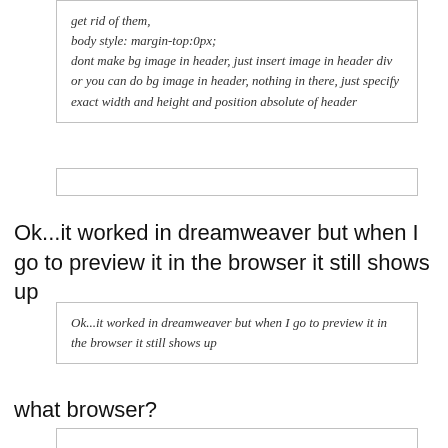get rid of them,
body style: margin-top:0px;
dont make bg image in header, just insert image in header div
or you can do bg image in header, nothing in there, just specify exact width and height and position absolute of header
[Figure (other): Empty input/text box]
Ok...it worked in dreamweaver but when I go to preview it in the browser it still shows up
Ok...it worked in dreamweaver but when I go to preview it in the browser it still shows up
what browser?
[Figure (other): Empty input/text box]